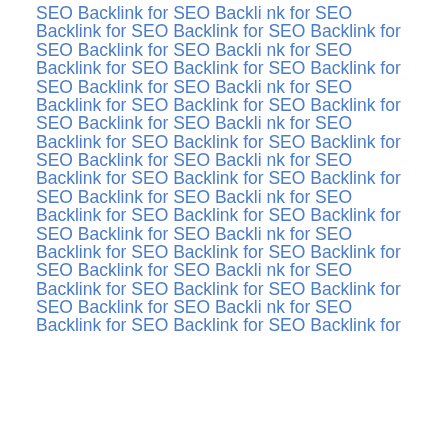SEO Backlink for SEO Backlink for SEO Backlink for SEO Backlink for SEO Backlink for SEO Backlink for SEO Backlink for SEO Backlink for SEO Backlink for SEO Backlink for SEO Backlink for SEO Backlink for SEO Backlink for SEO Backlink for SEO Backlink for SEO Backlink for SEO Backlink for SEO Backlink for SEO Backlink for SEO Backlink for SEO Backlink for SEO Backlink for SEO Backlink for SEO Backlink for SEO Backlink for SEO Backlink for SEO Backlink for SEO Backlink for SEO Backlink for SEO Backlink for SEO Backlink for SEO Backlink for SEO Backlink for